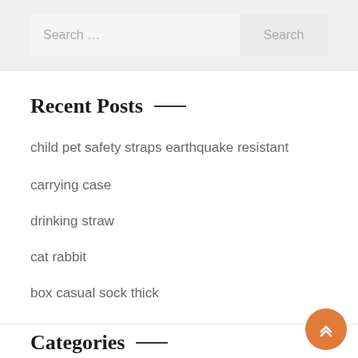Search ...
Search
Recent Posts
child pet safety straps earthquake resistant
carrying case
drinking straw
cat rabbit
box casual sock thick
Categories